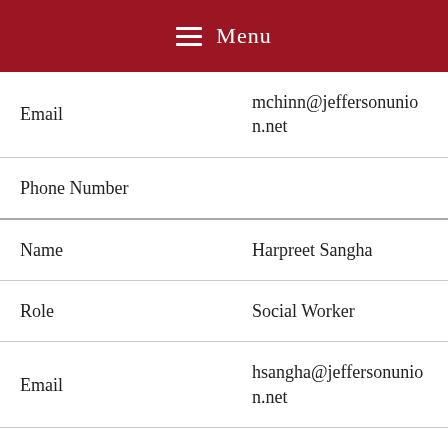Menu
| Field | Value |
| --- | --- |
| Email | mchinn@jeffersonunion.net |
| Phone Number |  |
| Name | Harpreet Sangha |
| Role | Social Worker |
| Email | hsangha@jeffersonunion.net |
| Phone Number |  |